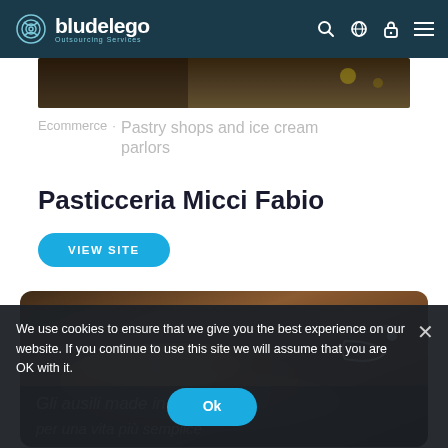bludelego Outsourcing Services — navigation bar with search, globe, lock, and menu icons
[Figure (photo): Top banner photo strip showing dark food/ingredient background]
Ecommerce · Pastry shops and ice cream parlors
Pasticceria Micci Fabio
VIEW SITE
[Figure (photo): Background photo of elderly hands with P.C.A. Group logo overlay. Italic Italian text partially visible: 'Gli ausili made in Italy per una vita più semplice']
We use cookies to ensure that we give you the best experience on our website. If you continue to use this site we will assume that you are OK with it.
Ok